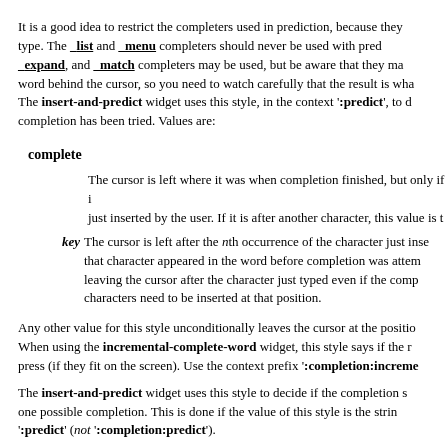It is a good idea to restrict the completers used in prediction, because they type. The _list and _menu completers should never be used with pred _expand, and _match completers may be used, but be aware that they ma word behind the cursor, so you need to watch carefully that the result is wha The insert-and-predict widget uses this style, in the context ':predict', to d completion has been tried. Values are:
complete
The cursor is left where it was when completion finished, but only if it just inserted by the user. If it is after another character, this value is t
key   The cursor is left after the nth occurrence of the character just inse that character appeared in the word before completion was attem leaving the cursor after the character just typed even if the comp characters need to be inserted at that position.
Any other value for this style unconditionally leaves the cursor at the positio When using the incremental-complete-word widget, this style says if the r press (if they fit on the screen). Use the context prefix ':completion:increme
The insert-and-predict widget uses this style to decide if the completion s one possible completion. This is done if the value of this style is the strin ':predict' (not ':completion:predict').
This style is used by smart-insert-last-word to provide a pattern (using matches an interesting word. The context is the name of the widget to wh (see above). The default behavior of smart-insert-last-word is equivalent to